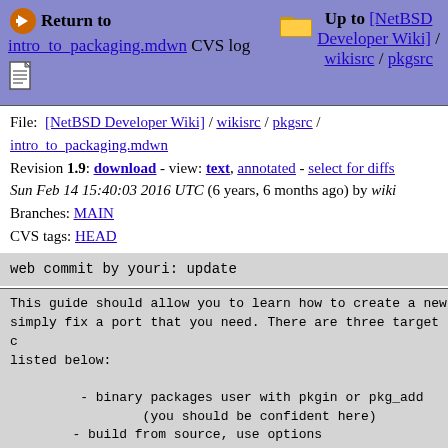Return to intro_to_packaging.mdwn CVS log | Up to [NetBSD Developer Wiki] / wikisrc / pkgsrc
File: [NetBSD Developer Wiki] / wikisrc / pkgsrc / intro_to_packaging.mdwn
Revision 1.9: download - view: text, annotated - select for diffs
Sun Feb 14 15:40:03 2016 UTC (6 years, 6 months ago) by wiki
Branches: MAIN
CVS tags: HEAD
web commit by youri: update
This guide should allow you to learn how to create a new
simply fix a port that you need. There are three target c
listed below:

    - binary packages user with pkgin or pkg_add
            (you should be confident here)
    - build from source, use options
            (you will know this after reading the gu:
    - port developers
            (you should be able to get started here)